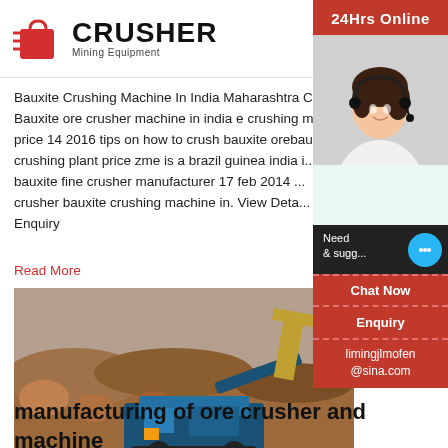[Figure (logo): Crusher Mining Equipment logo with red shopping bag icon and bold CRUSHER text]
Bauxite Crushing Machine In India Maharashtra Crusher. Bauxite ore crusher machine in india e crushing machine price 14 2016 tips on how to crush bauxite orebauxite crushing plant price zme is a brazil guinea india i... bauxite fine crusher manufacturer 17 feb 2014 ... crusher bauxite crushing machine in. View Deta... Enquiry
Read More
[Figure (photo): Photo of a blue mobile ore crusher machine operating at a mining site with excavated rocky terrain]
manufacturing of ore crusher and machine
Chat Online minerals used grinding machine - Stone Crusher
[Figure (other): Red sidebar banner with 24Hrs Online text, customer service agent photo, chat bubble icon, Chat Now button, Enquiry section, and limingjlmofen@sina.com email]